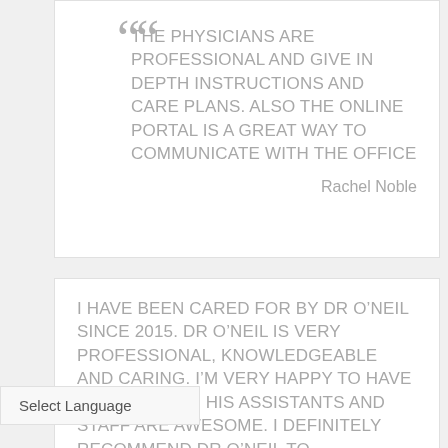THE PHYSICIANS ARE PROFESSIONAL AND GIVE IN DEPTH INSTRUCTIONS AND CARE PLANS. ALSO THE ONLINE PORTAL IS A GREAT WAY TO COMMUNICATE WITH THE OFFICE
Rachel Noble
I HAVE BEEN CARED FOR BY DR O'NEIL SINCE 2015. DR O'NEIL IS VERY PROFESSIONAL, KNOWLEDGEABLE AND CARING. I'M VERY HAPPY TO HAVE HIM AS MY DR. HIS ASSISTANTS AND STAFF ARE AWESOME. I DEFINITELY RECOMMEND DR O'NEIL TO
Select Language